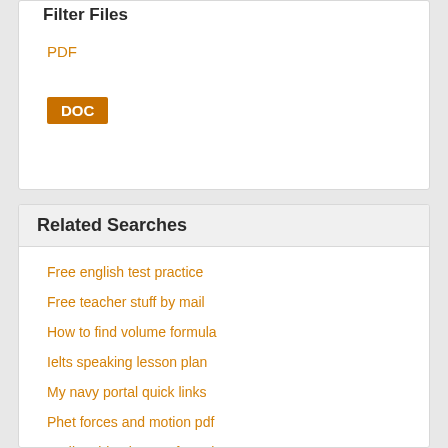Filter Files
PDF
DOC
Related Searches
Free english test practice
Free teacher stuff by mail
How to find volume formula
Ielts speaking lesson plan
My navy portal quick links
Phet forces and motion pdf
Sodium bicarbonate formula
World war 2 army divisions